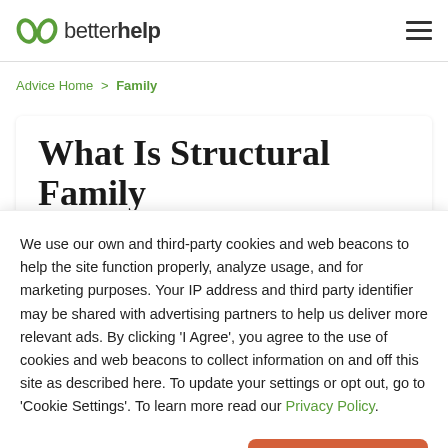betterhelp
Advice Home > Family
What Is Structural Family
We use our own and third-party cookies and web beacons to help the site function properly, analyze usage, and for marketing purposes. Your IP address and third party identifier may be shared with advertising partners to help us deliver more relevant ads. By clicking 'I Agree', you agree to the use of cookies and web beacons to collect information on and off this site as described here. To update your settings or opt out, go to 'Cookie Settings'. To learn more read our Privacy Policy.
Cookie Settings | I Agree